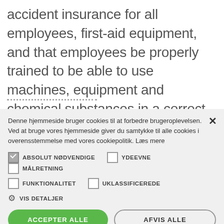accident insurance for all employees, first-aid equipment, and that employees be properly trained to be able to use machines, equipment and chemical substances in a correct and safe manner.
Denne hjemmeside bruger cookies til at forbedre brugeroplevelsen. Ved at bruge vores hjemmeside giver du samtykke til alle cookies i overensstemmelse med vores cookiepolitik. Læs mere
ABSOLUT NØDVENDIGE
YDEEVNE
MÅLRETNING
FUNKTIONALITET
UKLASSIFICEREDE
VIS DETALJER
ACCEPTER ALLE
AFVIS ALLE
POWERED BY COOKIESCRIPT